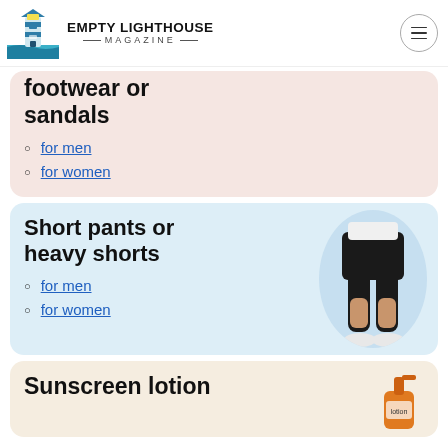EMPTY LIGHTHOUSE MAGAZINE
footwear or sandals
for men
for women
Short pants or heavy shorts
for men
for women
[Figure (photo): Woman wearing black shorts and white sneakers]
Sunscreen lotion
[Figure (photo): Sunscreen lotion bottle]